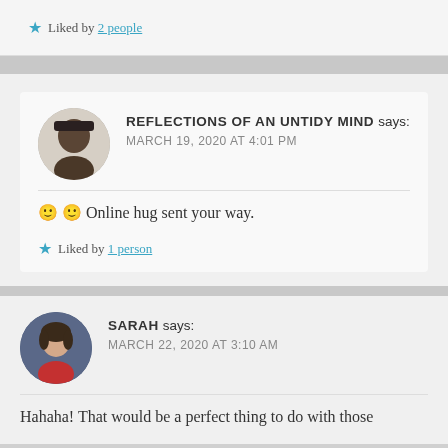★ Liked by 2 people
REFLECTIONS OF AN UNTIDY MIND says:
MARCH 19, 2020 AT 4:01 PM
🙂 🙂 Online hug sent your way.
★ Liked by 1 person
SARAH says:
MARCH 22, 2020 AT 3:10 AM
Hahaha! That would be a perfect thing to do with those